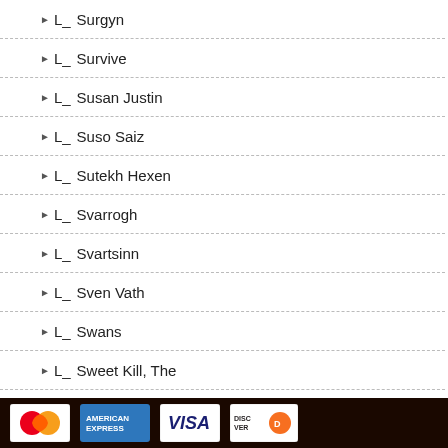└ Surgyn
└ Survive
└ Susan Justin
└ Suso Saiz
└ Sutekh Hexen
└ Svarrogh
└ Svartsinn
└ Sven Vath
└ Swans
└ Sweet Kill, The
└ Sweet William
└ Sweet Williams
└ Switchblade Symphony
└ Sydney Valette
└ Syl Kougai
└ Sylvester McCoy & The Bleak December Players
└ Sylvgheist Maelstrom
└ Synapscape
└ Synapyche
Payment methods: MasterCard, American Express, VISA, Discover